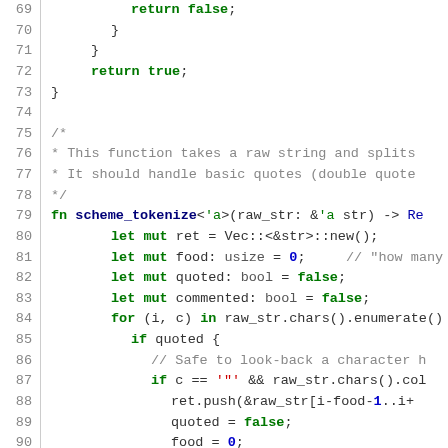[Figure (screenshot): Source code screenshot showing Rust code for scheme_tokenize function, lines 69-96, with syntax highlighting: line numbers in gray, keywords in bold green, strings in red, comments in gray, numbers in blue.]